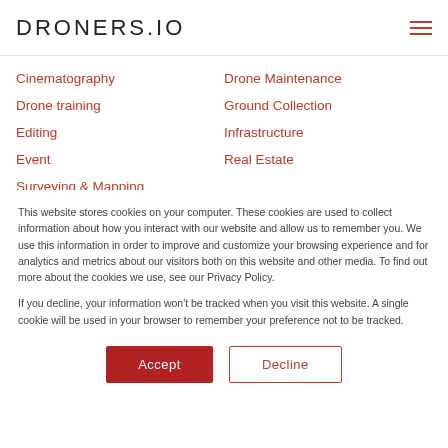DRONERS.IO
Cinematography
Drone training
Editing
Event
Surveying & Mapping
Drone Maintenance
Ground Collection
Infrastructure
Real Estate
This website stores cookies on your computer. These cookies are used to collect information about how you interact with our website and allow us to remember you. We use this information in order to improve and customize your browsing experience and for analytics and metrics about our visitors both on this website and other media. To find out more about the cookies we use, see our Privacy Policy.
If you decline, your information won't be tracked when you visit this website. A single cookie will be used in your browser to remember your preference not to be tracked.